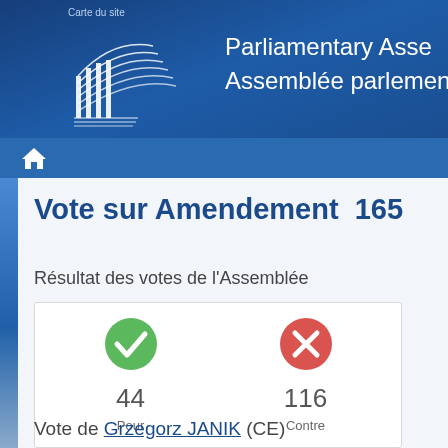Carte du site
[Figure (logo): Parliamentary Assembly / Assemblée parlementaire logo with stylized building/columns graphic on dark blue background]
Vote sur Amendement  165
Résultat des votes de l'Assemblée
| Pour | Contre |
| --- | --- |
| 44 | 116 |
Vote de Grzegorz JANIK (CE)